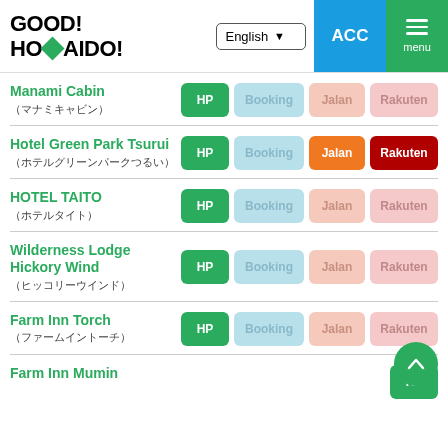GOOD! HOMAIDO!
Manami Cabin (マナミキャビン) - HP, Booking, Jalan, Rakuten
Hotel Green Park Tsurui (ホテルグリーンパークつるい) - HP, Booking, Jalan (active), Rakuten (active)
HOTEL TAITO (ホテルタイト) - HP, Booking, Jalan, Rakuten
Wilderness Lodge Hickory Wind (ヒッコリーウインド) - HP, Booking, Jalan, Rakuten
Farm Inn Torch (ファームイントーチ) - HP, Booking, Jalan, Rakuten
Farm Inn Mumin - HP